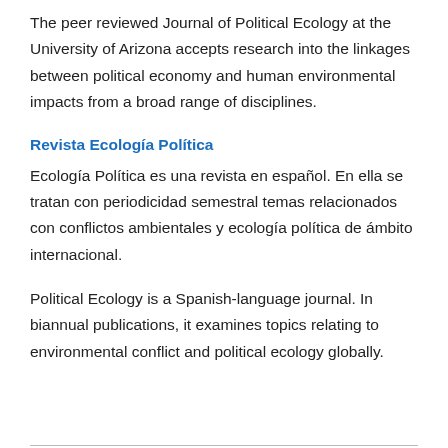The peer reviewed Journal of Political Ecology at the University of Arizona accepts research into the linkages between political economy and human environmental impacts from a broad range of disciplines.
Revista Ecología Política
Ecología Política es una revista en español. En ella se tratan con periodicidad semestral temas relacionados con conflictos ambientales y ecología política de ámbito internacional.
Political Ecology is a Spanish-language journal. In biannual publications, it examines topics relating to environmental conflict and political ecology globally.
University of Arizona Projects
Institute of the Environment